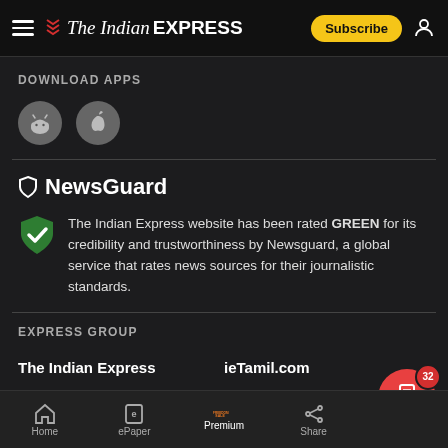The Indian Express — Subscribe
DOWNLOAD APPS
[Figure (illustration): Android and iOS app download icons as grey circles]
NewsGuard
The Indian Express website has been rated GREEN for its credibility and trustworthiness by Newsguard, a global service that rates news sources for their journalistic standards.
EXPRESS GROUP
The Indian Express
ieTamil.com
The Financial Express
ieBangla.com
Home | ePaper | Premium | Share | STORY